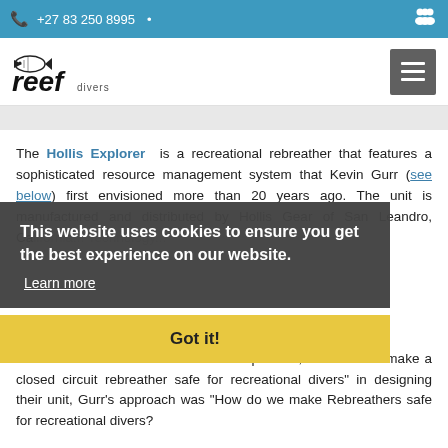+27 83 250 8995
[Figure (logo): Reef Divers logo with stylized fish and italic text]
The Hollis Explorer is a recreational rebreather that features a sophisticated resource management system that Kevin Gurr (see below) first envisioned more than 20 years ago. The unit is manufactured and distributed by Hollis Gear of San Leandro, California. Technology...
This website uses cookies to ensure you get the best experience on our website. Learn more
Got it!
While other manufacturers asked the question, "How do we make a closed circuit rebreather safe for recreational divers" in designing their unit, Gurr's approach was "How do we make Rebreathers safe for recreational divers?